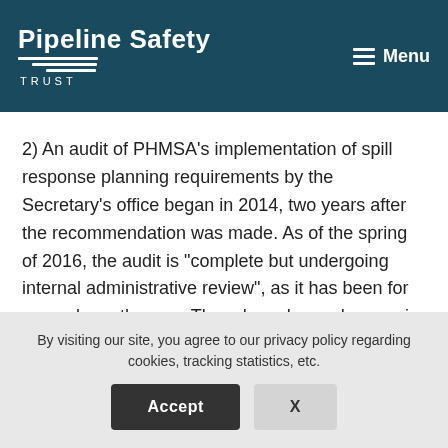Pipeline Safety Trust | Menu
2) An audit of PHMSA’s implementation of spill response planning requirements by the Secretary’s office began in 2014, two years after the recommendation was made. As of the spring of 2016, the audit is “complete but undergoing internal administrative review”, as it has been for several months now. There have been changes in the program in staffing and review procedures, but almost entirely
By visiting our site, you agree to our privacy policy regarding cookies, tracking statistics, etc.
Accept   X